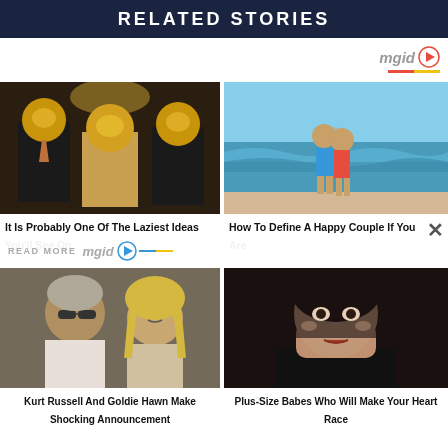RELATED STORIES
[Figure (screenshot): mgid logo top right]
[Figure (photo): Three people in suits wearing golden masquerade animal masks]
It Is Probably One Of The Laziest Ideas You'll See On
[Figure (photo): Couple kissing on a beach with waves behind them]
How To Define A Happy Couple If You Are
READ MORE mgid
[Figure (photo): Kurt Russell and Goldie Hawn together]
Kurt Russell And Goldie Hawn Make Shocking Announcement
[Figure (photo): Plus-size model looking at camera]
Plus-Size Babes Who Will Make Your Heart Race